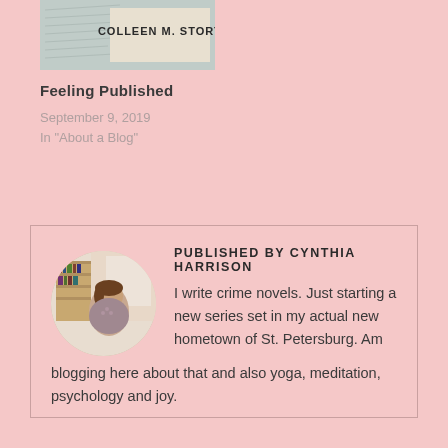[Figure (photo): Book cover showing 'COLLEEN M. STORY' text]
Feeling Published
September 9, 2019
In "About a Blog"
[Figure (photo): Author photo of Cynthia Harrison, circular crop, woman sitting in room with bookshelves]
PUBLISHED BY CYNTHIA HARRISON I write crime novels. Just starting a new series set in my actual new hometown of St. Petersburg. Am blogging here about that and also yoga, meditation, psychology and joy.